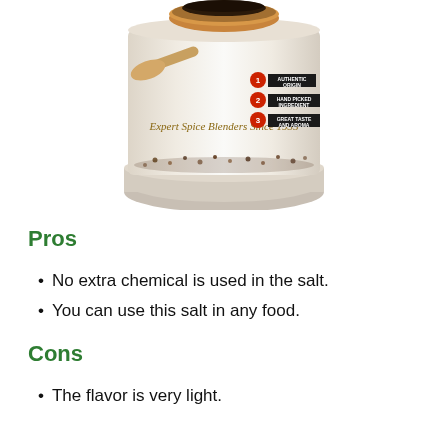[Figure (photo): Spice container/can with a wooden bowl of black pepper seeds on top, a wooden scoop, scattered spice seeds, and a label reading 'Expert Spice Blenders Since 1935' with three badges: 1 Authentic Origin, 2 Hand Picked Ingredient, 3 Great Taste and Aroma. The can has a stone/granite base.]
Pros
No extra chemical is used in the salt.
You can use this salt in any food.
Cons
The flavor is very light.